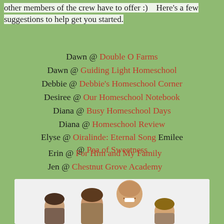other members of the crew have to offer :)    Here's a few suggestions to help get you started.
Dawn @ Double O Farms
Dawn @ Guiding Light Homeschool
Debbie @ Debbie's Homeschool Corner
Desiree @ Our Homeschool Notebook
Diana @ Busy Homeschool Days
Diana @ Homeschool Review
Elyse @ Oiralinde: Eternal Song Emilee @ Pea of Sweetness
Erin @ For Him and My Family
Jen @ Chestnut Grove Academy
[Figure (photo): Family photo showing adults and children, partially visible at bottom of page, on white background]